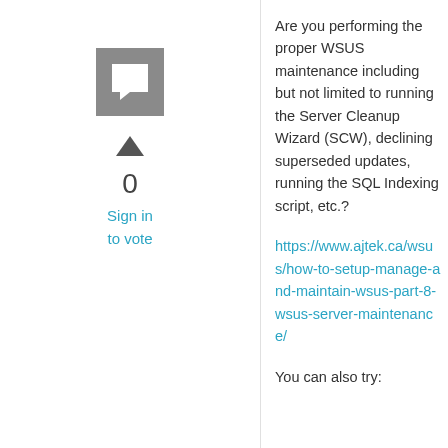[Figure (other): Gray square icon with a white speech/comment bubble icon]
0
Sign in to vote
Are you performing the proper WSUS maintenance including but not limited to running the Server Cleanup Wizard (SCW), declining superseded updates, running the SQL Indexing script, etc.?
https://www.ajtek.ca/wsus/how-to-setup-manage-and-maintain-wsus-part-8-wsus-server-maintenance/
You can also try: